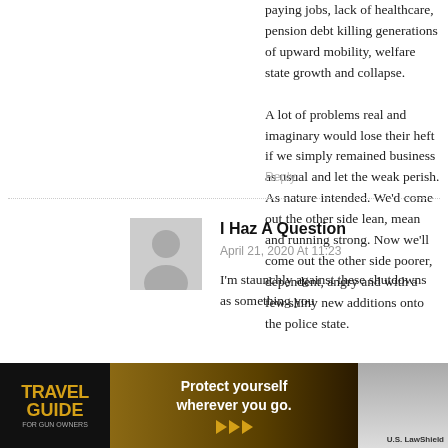paying jobs, lack of healthcare, pension debt killing generations of upward mobility, welfare state growth and collapse.
A lot of problems real and imaginary would lose their heft if we simply remained business as usual and let the weak perish. As nature intended. We'd come out the other side lean, mean and running strong. Now we'll come out the other side poorer, dependent, angry and with a few shiny new additions onto the police state.
Reply
I Haz A Question
April 21, 2020 At 11:23
I'm staunchly against these shutdowns as something you
[Figure (photo): Travel Guide for Gun Owners advertisement banner with golden text on dark background, tagline 'Protect yourself wherever you go.' with play button arrows, and U.S. LawShield branding on the right]